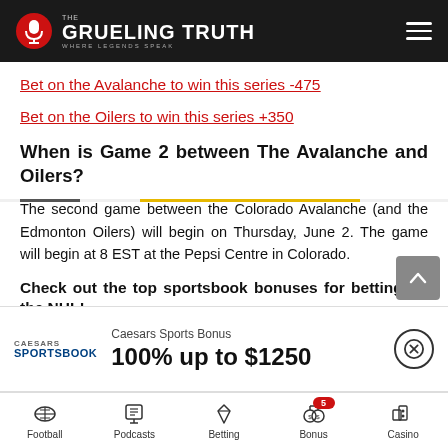THE GRUELING TRUTH — WHERE LEGENDS SPEAK
Bet on the Avalanche to win this series -475
Bet on the Oilers to win this series +350
When is Game 2 between The Avalanche and Oilers?
The second game between the Colorado Avalanche (and the Edmonton Oilers) will begin on Thursday, June 2. The game will begin at 8 EST at the Pepsi Centre in Colorado.
Check out the top sportsbook bonuses for betting on the NHL!
Caesars Sports Bonus
100% up to $1250
Football | Podcasts | Betting | Bonus 5 | Casino